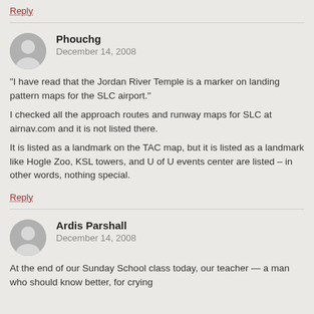Reply
Phouchg
December 14, 2008
“I have read that the Jordan River Temple is a marker on landing pattern maps for the SLC airport.”

I checked all the approach routes and runway maps for SLC at airnav.com and it is not listed there.

It is listed as a landmark on the TAC map, but it is listed as a landmark like Hogle Zoo, KSL towers, and U of U events center are listed – in other words, nothing special.
Reply
Ardis Parshall
December 14, 2008
At the end of our Sunday School class today, our teacher — a man who should know better, for crying